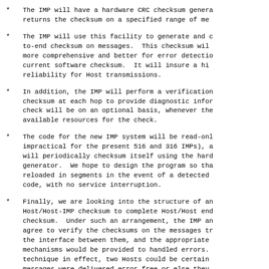The IMP will have a hardware CRC checksum generator that returns the checksum on a specified range of memory.
The IMP will use this facility to generate and check an end-to-end checksum on messages.  This checksum will be more comprehensive and better for error detection than the current software checksum.  It will insure a higher level of reliability for Host transmissions.
In addition, the IMP will perform a verification of the checksum at each hop to provide diagnostic information.  This check will be on an optional basis, whenever there are available resources for the check.
The code for the new IMP system will be read-only (as it is impractical for the present 516 and 316 IMPs), and the IMP will periodically checksum itself using the hardware CRC generator.  We hope to design the program so that it can be reloaded in segments in the event of a detected error in the code, with no service interruption.
Finally, we are looking into the structure of an end-to-end Host/Host-IMP checksum to complete Host/Host end-to-end checksum.  Under such an arrangement, the IMP and Host would agree to verify the checksums on the messages transmitted over the interface between them, and the appropriate error mechanisms would be provided to handled errors.  With this technique in effect, two Hosts could be certain that their messages were delivered error-free or else they would be notified of an error, and could then retransmit.